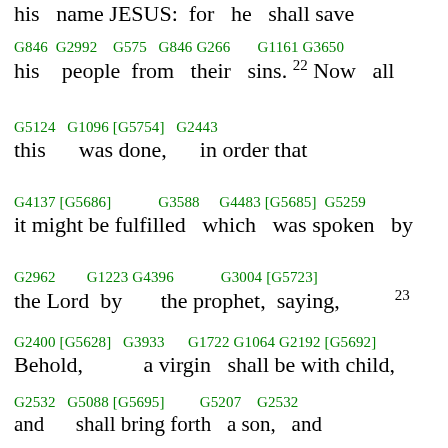his name JESUS: for he shall save
G846 G2992 G575 G846 G266 G1161 G3650
his people from their sins. 22 Now all
G5124 G1096 [G5754] G2443
this was done, in order that
G4137 [G5686] G3588 G4483 [G5685] G5259
it might be fulfilled which was spoken by
G2962 G1223 G4396 G3004 [G5723]
the Lord by the prophet, saying, 23
G2400 [G5628] G3933 G1722 G1064 G2192 [G5692]
Behold, a virgin shall be with child,
G2532 G5088 [G5695] G5207 G2532
and shall bring forth a son, and
G2564 [G5692] G846 G3686 G1694 G3739
they shall call his name Emmanuel, which